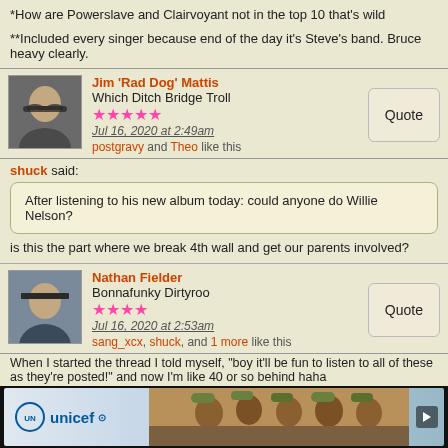*How are Powerslave and Clairvoyant not in the top 10 that's wild
**Included every singer because end of the day it's Steve's band. Bruce heavy clearly.
Jim 'Rad Dog' Mattis
Which Ditch Bridge Troll
★★★★★ (5 stars)
Jul 16, 2020 at 2:49am
postgravy and Theo like this
shuck said:
After listening to his new album today: could anyone do Willie Nelson?
is this the part where we break 4th wall and get our parents involved?
Nathan Fielder
Bonnafunky Dirtyroo
★★★★ (4 stars)
Jul 16, 2020 at 2:53am
sang_xcx, shuck, and 1 more like this
When I started the thread I told myself, "boy it'll be fun to listen to all of these as they're posted!" and now I'm like 40 or so behind haha
[Figure (photo): Unicef advertisement banner with children]